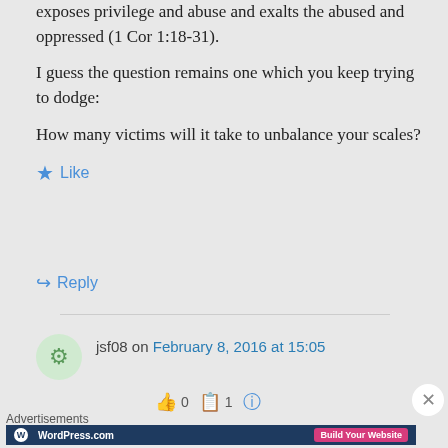exposes privilege and abuse and exalts the abused and oppressed (1 Cor 1:18-31).
I guess the question remains one which you keep trying to dodge:
How many victims will it take to unbalance your scales?
Like
Reply
jsf08 on February 8, 2016 at 15:05
Advertisements
[Figure (screenshot): WordPress.com advertisement banner with 'Build Your Website' button]